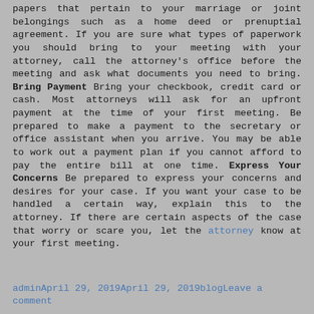papers that pertain to your marriage or joint belongings such as a home deed or prenuptial agreement. If you are sure what types of paperwork you should bring to your meeting with your attorney, call the attorney's office before the meeting and ask what documents you need to bring. Bring Payment Bring your checkbook, credit card or cash. Most attorneys will ask for an upfront payment at the time of your first meeting. Be prepared to make a payment to the secretary or office assistant when you arrive. You may be able to work out a payment plan if you cannot afford to pay the entire bill at one time. Express Your Concerns Be prepared to express your concerns and desires for your case. If you want your case to be handled a certain way, explain this to the attorney. If there are certain aspects of the case that worry or scare you, let the attorney know at your first meeting.
adminApril 29, 2019April 29, 2019blogLeave a comment